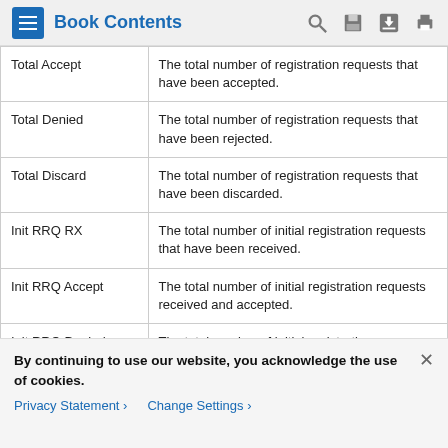Book Contents
|  |  |
| --- | --- |
| Total Accept | The total number of registration requests that have been accepted. |
| Total Denied | The total number of registration requests that have been rejected. |
| Total Discard | The total number of registration requests that have been discarded. |
| Init RRQ RX | The total number of initial registration requests that have been received. |
| Init RRQ Accept | The total number of initial registration requests received and accepted. |
| Init RRQ Denied | The total number of initial registration |
By continuing to use our website, you acknowledge the use of cookies.
Privacy Statement > Change Settings >